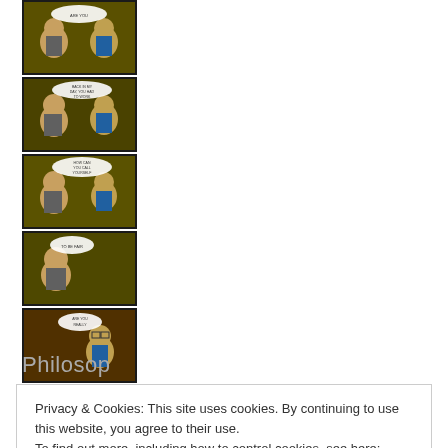[Figure (illustration): A vertical comic strip with 8 panels showing two animated characters (an older man and a younger man with glasses) in conversation. Panels have dark backgrounds with yellowish/olive tones.]
Philosop
Privacy & Cookies: This site uses cookies. By continuing to use this website, you agree to their use.
To find out more, including how to control cookies, see here: Cookie Policy
Close and accept